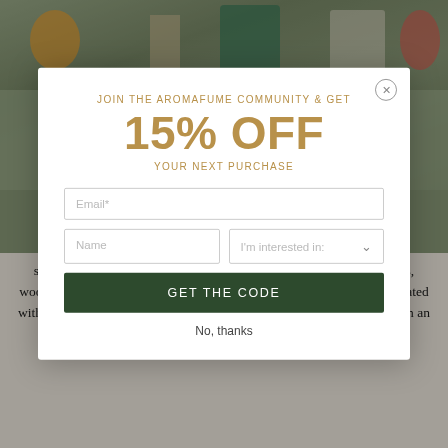[Figure (screenshot): Background showing product packages/bottles in dark background with a banner overlay]
CLICK HERE FOR OUR 7 CHAKRA RANGE
[Figure (screenshot): Modal popup with newsletter signup offering 15% off]
JOIN THE AROMAFUME COMMUNITY & GET
15% OFF
YOUR NEXT PURCHASE
GET THE CODE
No, thanks
squares handmade with a unique blend of natural materials (the resins, woods, floral residues selected depend on the aroma) which are accentuated with aromatic extracts and essential oils. Incense bricks can be burned on an Exotic Incense Burner (Smokeless experience) or traditionally on